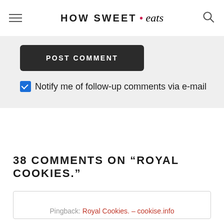HOW SWEET • eats
POST COMMENT
Notify me of follow-up comments via e-mail
38 COMMENTS ON “ROYAL COOKIES.”
Pingback: Royal Cookies. – cookise.info